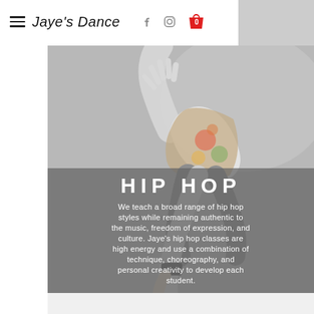Jaye's Dance — navigation with hamburger menu, Facebook, Instagram icons, and cart (0)
[Figure (photo): A hip hop dancer in a dynamic pose against a gray background, wearing a floral top and dark pants, with one hand reaching up and the other down near the floor. The dancer is performing a freeze or breakdance move.]
HIP HOP
We teach a broad range of hip hop styles while remaining authentic to the music, freedom of expression, and culture.  Jaye's hip hop classes are high energy and use a combination of technique, choreography,  and personal creativity to develop each student.